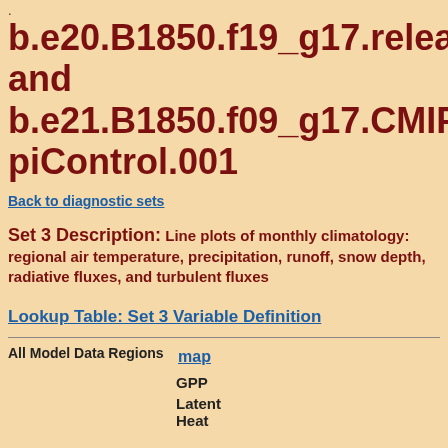.
b.e20.B1850.f19_g17.release_ces and b.e21.B1850.f09_g17.CMIP6-piControl.001
Back to diagnostic sets
Set 3 Description: Line plots of monthly climatology: regional air temperature, precipitation, runoff, snow depth, radiative fluxes, and turbulent fluxes
Lookup Table: Set 3 Variable Definition
All Model Data Regions
map
GPP
Latent Heat